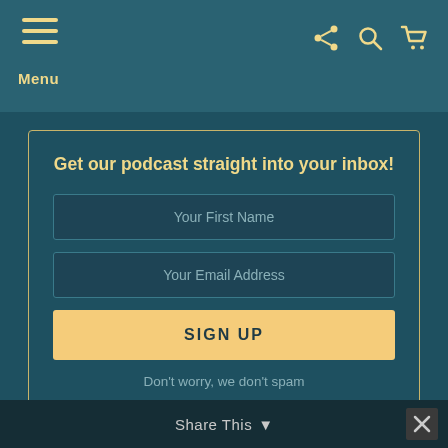Menu
Get our podcast straight into your inbox!
Your First Name
Your Email Address
SIGN UP
Don't worry, we don't spam
Share This